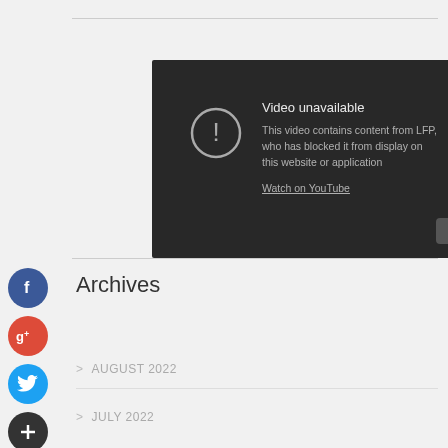[Figure (screenshot): YouTube embedded video player showing 'Video unavailable' message. Text reads: 'Video unavailable. This video contains content from LFP, who has blocked it from display on this website or application. Watch on YouTube.' A YouTube play button icon appears in the bottom right of the player.]
Archives
> AUGUST 2022
> JULY 2022